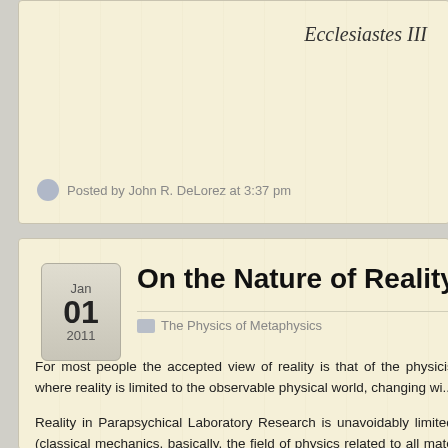Ecclesiastes III
Posted by John R. DeLorez at 3:37 pm
On the Nature of Reality
The Physics of Metaphysics
For most people the accepted view of reality is that of the physicist, where reality is limited to the observable physical world, changing wi...
Reality in Parapsychical Laboratory Research is unavoidably limited (classical mechanics, basically, the field of physics related to all mate... yet indeterminate phenomenon, the human mind.
Most research done in the lab seems to fall under one of two cl... through means not readily discernable (ESP), or Mind/Matter Intera... carried out utilizing the accepted standards of mainstream scientific... valuable body of data with respect to the abilities of the human m...